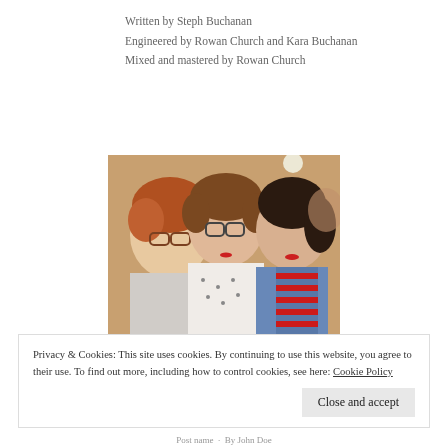Written by Steph Buchanan
Engineered by Rowan Church and Kara Buchanan
Mixed and mastered by Rowan Church
[Figure (photo): A photo of three people posing together closely, two with glasses, one with red/auburn hair, one with short brown hair, and one with dark hair, wearing casual clothing including a striped red shirt and denim jacket.]
Privacy & Cookies: This site uses cookies. By continuing to use this website, you agree to their use. To find out more, including how to control cookies, see here: Cookie Policy
Post name · By John Doe